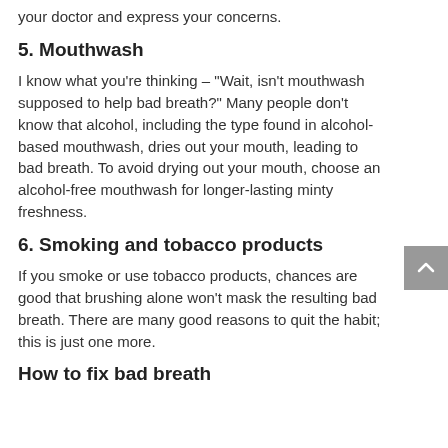your doctor and express your concerns.
5. Mouthwash
I know what you're thinking – "Wait, isn't mouthwash supposed to help bad breath?" Many people don't know that alcohol, including the type found in alcohol-based mouthwash, dries out your mouth, leading to bad breath. To avoid drying out your mouth, choose an alcohol-free mouthwash for longer-lasting minty freshness.
6. Smoking and tobacco products
If you smoke or use tobacco products, chances are good that brushing alone won't mask the resulting bad breath. There are many good reasons to quit the habit; this is just one more.
How to fix bad breath